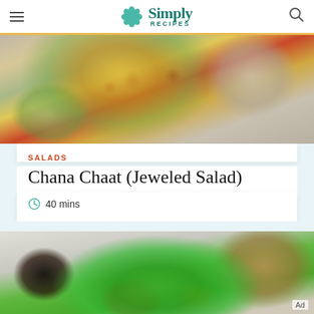Simply Recipes
[Figure (photo): Overhead view of a bowl of Chana Chaat salad with chickpeas, pomegranate seeds, mango, and herbs on a linen surface with striped cloth and serving utensils]
SALADS
Chana Chaat (Jeweled Salad)
40 mins
[Figure (photo): Overhead view of a green vegetable salad with snap peas, cucumber, red peppers in a white bowl, with dark dressing cup and wooden serving spoons]
Ad
✓ Dine-in  ✓ Curbside pickup